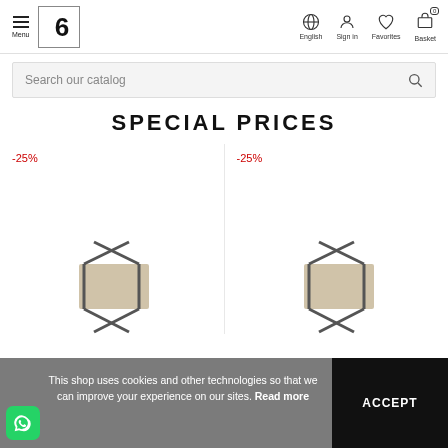Menu | LASTRO16 logo | English | Sign in | Favorites | Basket
Search our catalog
SPECIAL PRICES
-25%
[Figure (photo): Product image with -25% discount badge, chair/furniture item]
-25%
[Figure (photo): Product image with -25% discount badge, chair/furniture item]
This shop uses cookies and other technologies so that we can improve your experience on our sites. Read more
ACCEPT